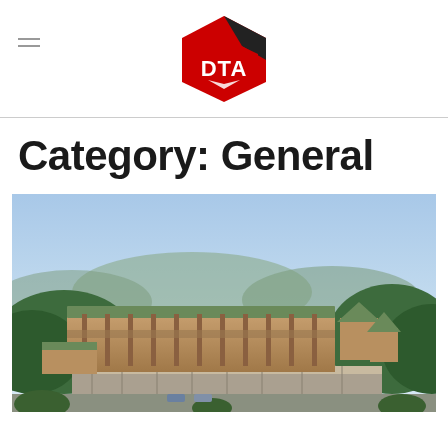DTA logo and navigation menu icon
Category: General
[Figure (photo): Aerial rendering of a modern hillside resort or hotel complex with green roofs, wooden facade elements, stone retaining walls, and surrounding forested mountains under a clear blue sky.]